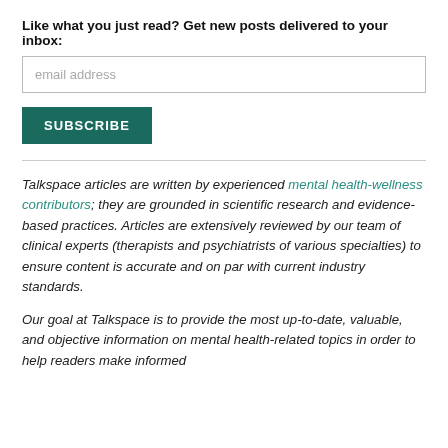Like what you just read? Get new posts delivered to your inbox:
email address
SUBSCRIBE
Talkspace articles are written by experienced mental health-wellness contributors; they are grounded in scientific research and evidence-based practices. Articles are extensively reviewed by our team of clinical experts (therapists and psychiatrists of various specialties) to ensure content is accurate and on par with current industry standards.
Our goal at Talkspace is to provide the most up-to-date, valuable, and objective information on mental health-related topics in order to help readers make informed